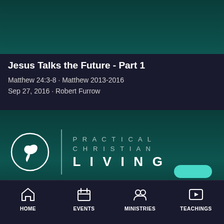[Figure (screenshot): Dark teal background image area at the top, partially cropped]
Jesus Talks the Future - Part 1
Matthew 24:3-8 · Matthew 2013-2016
Sep 27, 2016 · Robert Furrow
[Figure (logo): Practical Christian Living logo with circular icon, vertical divider, and spaced text PRACTICAL CHRISTIAN LIVING]
HOME  EVENTS  MINISTRIES  TEACHINGS